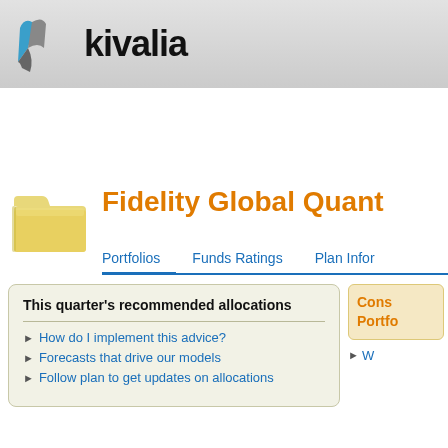[Figure (logo): Kivalia logo with blue and grey swoosh icon and bold 'kivalia' text]
Fidelity Global Quant
Portfolios   Funds Ratings   Plan Infor
This quarter's recommended allocations
How do I implement this advice?
Forecasts that drive our models
Follow plan to get updates on allocations
Cons Portfolio
Please wait while we update Fide